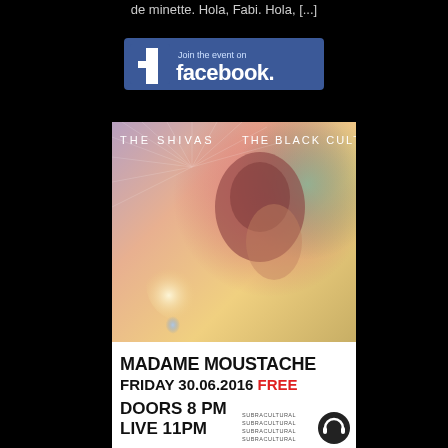de minette. Hola, Fabi. Hola, [...]
[Figure (logo): Facebook 'Join the event on facebook' button with blue background and Facebook logo]
[Figure (photo): Event poster for The Shivas and The Black Cult at Madame Moustache, Friday 30.06.2016, Free. Doors 8 PM, Live 11PM. Features psychedelic photo of a woman with colorful blurred bokeh lights. Text at bottom in bold black: MADAME MOUSTACHE, FRIDAY 30.06.2016 FREE, DOORS 8 PM, LIVE 11PM with SUBRACULTURAL branding and headphones logo.]